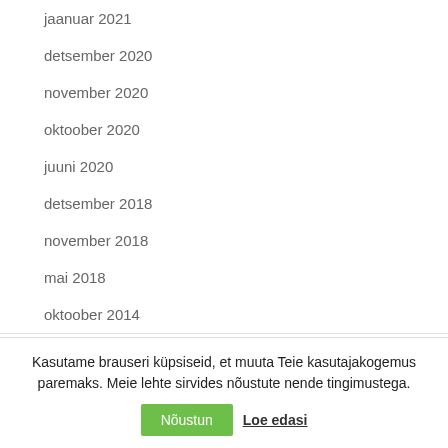jaanuar 2021
detsember 2020
november 2020
oktoober 2020
juuni 2020
detsember 2018
november 2018
mai 2018
oktoober 2014
Categories
Kasutame brauseri küpsiseid, et muuta Teie kasutajakogemus paremaks. Meie lehte sirvides nõustute nende tingimustega.
Nõustun  Loe edasi